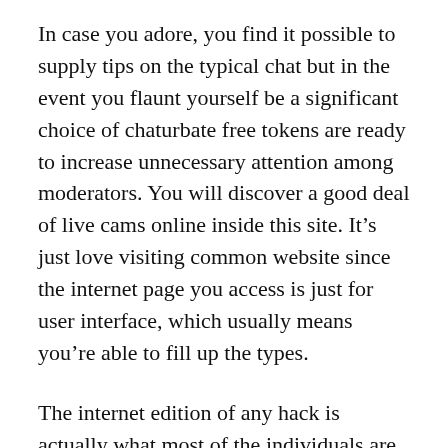In case you adore, you find it possible to supply tips on the typical chat but in the event you flaunt yourself be a significant choice of chaturbate free tokens are ready to increase unnecessary attention among moderators. You will discover a good deal of live cams online inside this site. It’s just love visiting common website since the internet page you access is just for user interface, which usually means you’re able to fill up the types.
The internet edition of any hack is actually what most of the individuals are in fact hunting for when they desire to locate a dependable fix. This’s really the key reason why we provide the